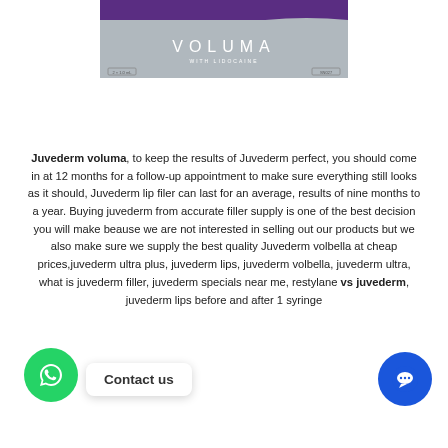[Figure (photo): Juvederm Voluma with Lidocaine product box, grey and purple packaging, partial top view]
Juvederm voluma, to keep the results of Juvederm perfect, you should come in at 12 months for a follow-up appointment to make sure everything still looks as it should, Juvederm lip filer can last for an average, results of nine months to a year. Buying juvederm from accurate filler supply is one of the best decision you will make beause we are not interested in selling out our products but we also make sure we supply the best quality Juvederm volbella at cheap prices,juvederm ultra plus, juvederm lips, juvederm volbella, juvederm ultra, what is juvederm filler, juvederm specials near me, restylane vs juvederm, juvederm lips before and after 1 syringe